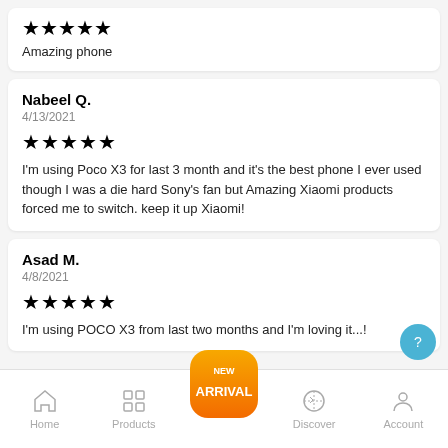★★★★★
Amazing phone
Nabeel Q.
4/13/2021
★★★★★
I'm using Poco X3 for last 3 month and it's the best phone I ever used though I was a die hard Sony's fan but Amazing Xiaomi products forced me to switch. keep it up Xiaomi!
Asad M.
4/8/2021
★★★★★
I'm using POCO X3 from last two months and I'm loving it...!
Home | Products | New Arrival | Discover | Account